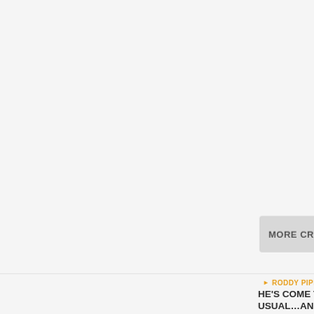MORE CRAP
RODDY PIPER C…
HE'S COME TO USUAL…AND…